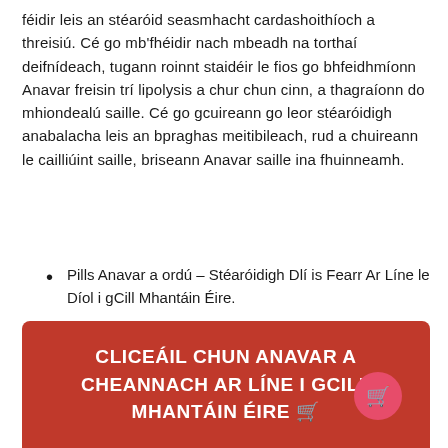féidir leis an stéaróid seasmhacht cardashoithíoch a threisiú. Cé go mb'fhéidir nach mbeadh na torthaí deifnídeach, tugann roinnt staidéir le fios go bhfeidhmíonn Anavar freisin trí lipolysis a chur chun cinn, a thagraíonn do mhiondealú saille. Cé go gcuireann go leor stéaróidigh anabalacha leis an bpraghas meitibileach, rud a chuireann le cailliúint saille, briseann Anavar saille ina fhuinneamh.
Pills Anavar a ordú – Stéaróidigh Dlí is Fearr Ar Líne le Díol i gCill Mhantáin Éire.
Stéaróidigh Androgen Bodybuilding Bodybuilding Ar Díol i gCill Mhantáin Éire.
CLICEÁIL CHUN ANAVAR A CHEANNACH AR LÍNE I GCILL MHANTÁIN ÉIRE 🛒